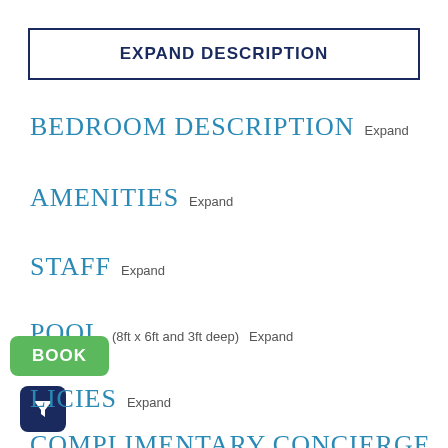EXPAND DESCRIPTION
BEDROOM DESCRIPTION Expand
AMENITIES Expand
STAFF Expand
POOL (8ft x 6ft and 3ft deep) Expand
LICIES Expand
COMPLIMENTARY CONCIERGE